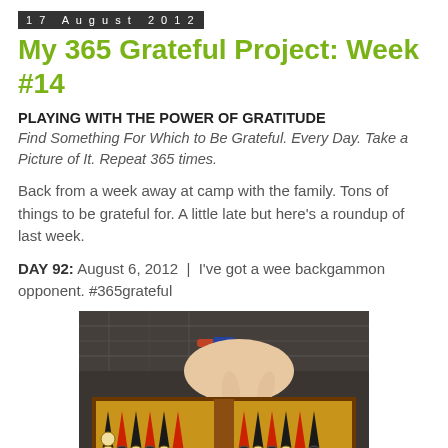17 August 2012
My 365 Grateful Project: Week #14
PLAYING WITH THE POWER OF GRATITUDE
Find Something For Which to Be Grateful. Every Day. Take a Picture of It. Repeat 365 times.
Back from a week away at camp with the family. Tons of things to be grateful for. A little late but here's a roundup of last week.
DAY 92: August 6, 2012  |  I've got a wee backgammon opponent. #365grateful
[Figure (photo): A child's hand reaching over a backgammon board, with checkers/pieces visible and a plaid shirt in the background. The child wears orange and blue wristbands.]